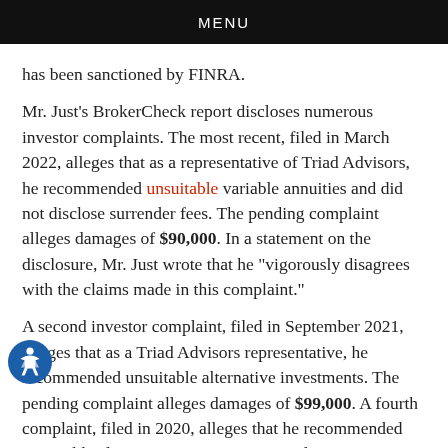MENU
has been sanctioned by FINRA.
Mr. Just's BrokerCheck report discloses numerous investor complaints. The most recent, filed in March 2022, alleges that as a representative of Triad Advisors, he recommended unsuitable variable annuities and did not disclose surrender fees. The pending complaint alleges damages of $90,000. In a statement on the disclosure, Mr. Just wrote that he “vigorously disagrees with the claims made in this complaint.”
A second investor complaint, filed in September 2021, alleges that as a Triad Advisors representative, he recommended unsuitable alternative investments. The pending complaint alleges damages of $99,000. A fourth complaint, filed in 2020, alleges that he recommended unsuitable alternative investments in real estate securities, seeking damages of $150,000. A fifth, filed in 2018, alleges unsuitable investment recommendations